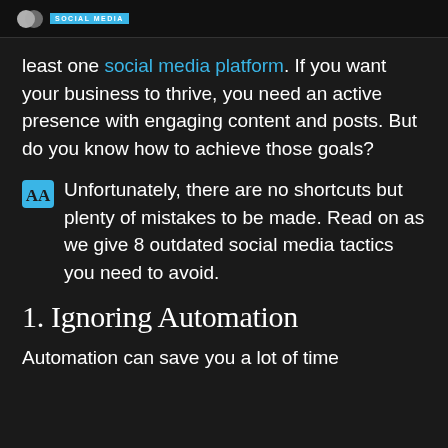SOCIAL MEDIA
least one social media platform. If you want your business to thrive, you need an active presence with engaging content and posts. But do you know how to achieve those goals?
Unfortunately, there are no shortcuts but plenty of mistakes to be made. Read on as we give 8 outdated social media tactics you need to avoid.
1. Ignoring Automation
Automation can save you a lot of time